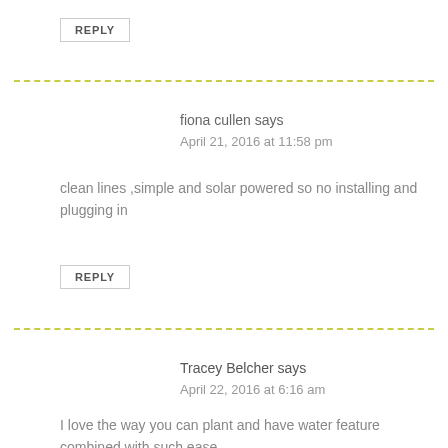REPLY
fiona cullen says
April 21, 2016 at 11:58 pm
clean lines ,simple and solar powered so no installing and plugging in
REPLY
Tracey Belcher says
April 22, 2016 at 6:16 am
I love the way you can plant and have water feature combined with such ease.